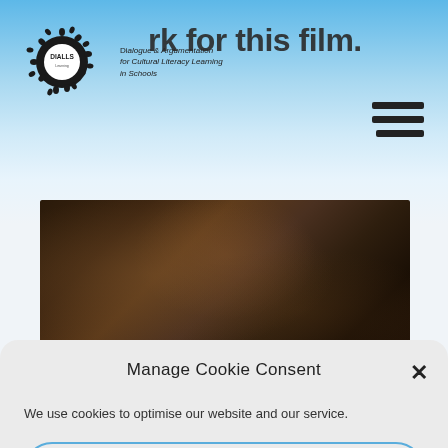DIALLS – Dialogue & Argumentation for Cultural Literacy Learning in Schools
…rk for this film.
[Figure (photo): Dark blurred video thumbnail showing a dimly lit scene]
Manage Cookie Consent
We use cookies to optimise our website and our service.
Accept cookies
Functional only